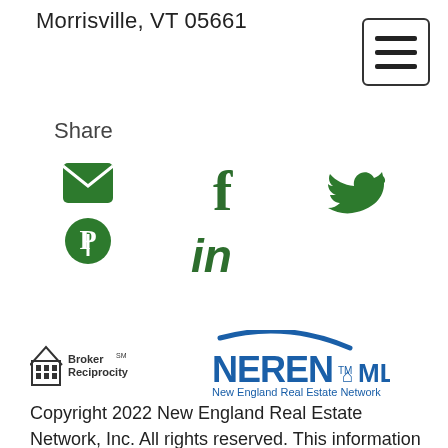Morrisville, VT 05661
[Figure (infographic): Hamburger menu icon (three horizontal lines inside a rounded rectangle border)]
Share
[Figure (infographic): Social media share icons: email (envelope), Pinterest, Facebook (f), LinkedIn (in), Twitter (bird) — all in dark green]
[Figure (logo): Broker Reciprocity logo (house icon with text 'Broker SM Reciprocity') and NEREN MLS New England Real Estate Network logo]
Copyright 2022 New England Real Estate Network, Inc. All rights reserved. This information is deemed reliable, but not guaranteed. The data relating to real estate for sale on this web site comes in part from the IDX Program of NEREN. The information being provided is for consumers' personal, non-commercial use and may not be used for any purpose other than to identify prospective properties consumers may be interested in purchasing. Data last updated August 20, 2022.